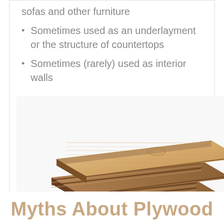sofas and other furniture
Sometimes used as an underlayment or the structure of countertops
Sometimes (rarely) used as interior walls
[Figure (photo): Stack of plywood sheets showing layered wood grain construction, photographed at an angle on a white background]
Myths About Plywood